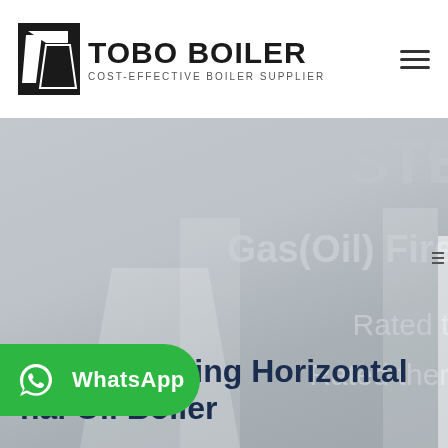[Figure (logo): TOBO BOILER logo with black geometric icon and text 'TOBO BOILER' in bold with subtitle 'COST-EFFECTIVE BOILER SUPPLIER']
[Figure (screenshot): Hero banner of industrial boiler product page with partial text 'Gas(Oil) Fired', 'Rated th...', 'Rated ther...' visible on right side, and industrial boiler background image]
Energy Saving Horizontal Natural Oil Boiler
[Figure (infographic): WhatsApp contact button in green with WhatsApp icon and 'WhatsApp' label]